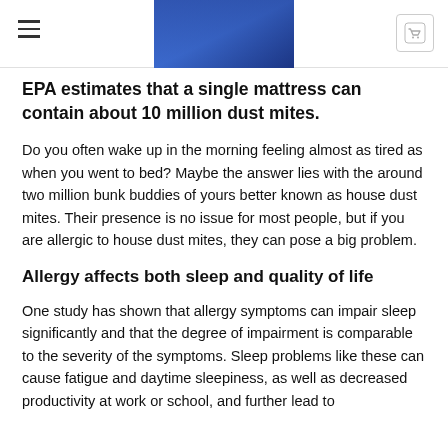EPA estimates that a single mattress can contain about 10 million dust mites.
Do you often wake up in the morning feeling almost as tired as when you went to bed? Maybe the answer lies with the around two million bunk buddies of yours better known as house dust mites. Their presence is no issue for most people, but if you are allergic to house dust mites, they can pose a big problem.
Allergy affects both sleep and quality of life
One study has shown that allergy symptoms can impair sleep significantly and that the degree of impairment is comparable to the severity of the symptoms. Sleep problems like these can cause fatigue and daytime sleepiness, as well as decreased productivity at work or school, and further lead to